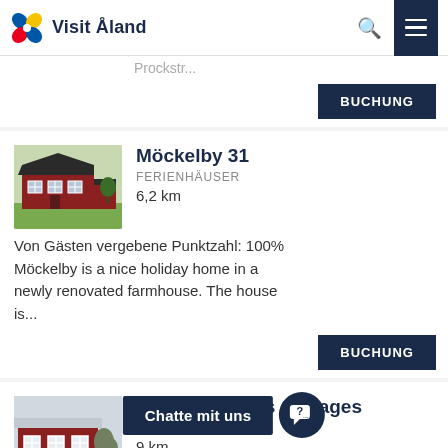Visit Åland
Prockstr...
BUCHUNG
Möckelby 31
FERIENHÄUSER
6,2 km
Von Gästen vergebene Punktzahl: 100% Möckelby is a nice holiday home in a newly renovated farmhouse. The house is...
BUCHUNG
Sommarströms Cottages
FERIENHÄUS
9 km
Von Gästen vergebene Punktzahl: 57%
Chatte mit uns